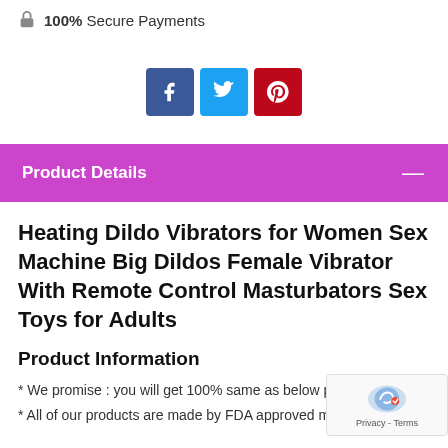🔒 100% Secure Payments
[Figure (other): Social media share buttons: Facebook (blue), Twitter (cyan), Pinterest (red)]
Product Details
Heating Dildo Vibrators for Women Sex Machine Big Dildos Female Vibrator With Remote Control Masturbators Sex Toys for Adults
Product Information
* We promise : you will get 100% same as below picture produ…
* All of our products are made by FDA approved medical…